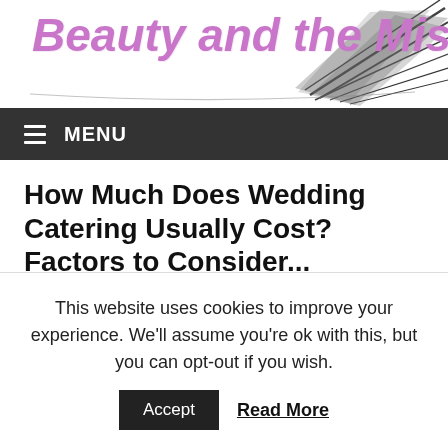[Figure (logo): Beauty and the Mist logo with pink cursive text and dark abstract graphic/feather design on the right]
MENU
How Much Does Wedding Catering Usually Cost? Factors to Consider...
January 6, 2021 / Demi Mist / food, Tips, wedding
This website uses cookies to improve your experience. We'll assume you're ok with this, but you can opt-out if you wish.